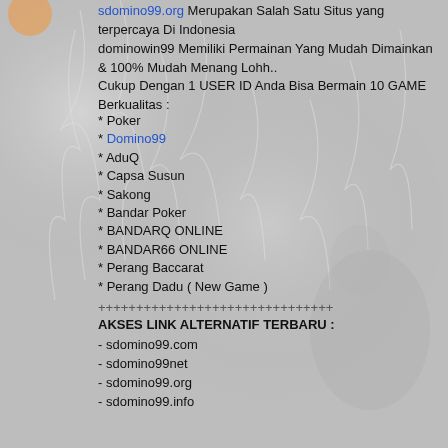sdomino99.org Merupakan Salah Satu Situs yang terpercaya Di Indonesia
dominowin99 Memiliki Permainan Yang Mudah Dimainkan & 100% Mudah Menang Lohh..
Cukup Dengan 1 USER ID Anda Bisa Bermain 10 GAME Berkualitas :
* Poker
* Domino99
* AduQ
* Capsa Susun
* Sakong
* Bandar Poker
* BANDARQ ONLINE
* BANDAR66 ONLINE
* Perang Baccarat
* Perang Dadu ( New Game )
+++++++++++++++++++++++++++++++
AKSES LINK ALTERNATIF TERBARU :
- sdomino99.com
- sdomino99net
- sdomino99.org
- sdomino99.info